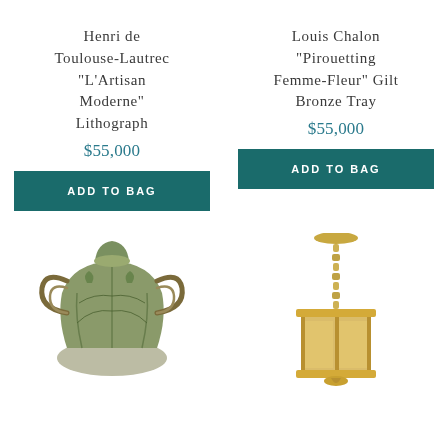Henri de Toulouse-Lautrec "L'Artisan Moderne" Lithograph
$55,000
ADD TO BAG
Louis Chalon "Pirouetting Femme-Fleur" Gilt Bronze Tray
$55,000
ADD TO BAG
[Figure (photo): Antique ornate ceramic or bronze urn/vase with elaborate Art Nouveau decorative handles and relief work, shown in green-brown patina tones]
[Figure (photo): Antique hanging light fixture or chandelier with gold/brass chain and square base, suspended from a ceiling mount, shown against white background]